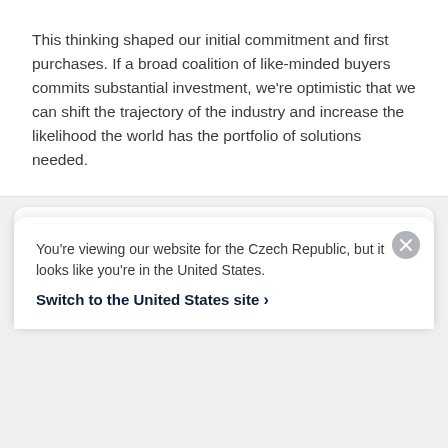This thinking shaped our initial commitment and first purchases. If a broad coalition of like-minded buyers commits substantial investment, we're optimistic that we can shift the trajectory of the industry and increase the likelihood the world has the portfolio of solutions needed.
Experience curves
[Figure (other): Partial view of an experience curves chart with a vertical axis line and a 'DNA sequencing' label badge visible, rest obscured by overlay]
You're viewing our website for the Czech Republic, but it looks like you're in the United States.
Switch to the United States site ›